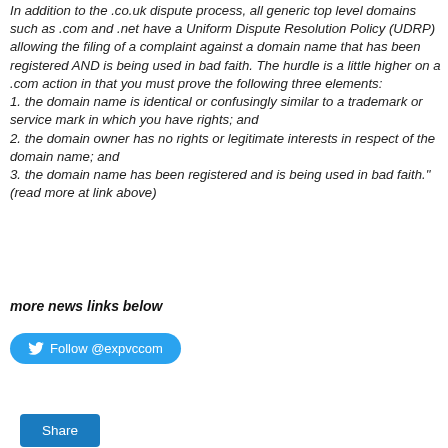In addition to the .co.uk dispute process, all generic top level domains such as .com and .net have a Uniform Dispute Resolution Policy (UDRP) allowing the filing of a complaint against a domain name that has been registered AND is being used in bad faith. The hurdle is a little higher on a .com action in that you must prove the following three elements: 1. the domain name is identical or confusingly similar to a trademark or service mark in which you have rights; and 2. the domain owner has no rights or legitimate interests in respect of the domain name; and 3. the domain name has been registered and is being used in bad faith." (read more at link above)
more news links below
[Figure (other): Twitter Follow button with bird icon and text 'Follow @expvccom' on a blue rounded pill button]
[Figure (other): Share button in blue with white text 'Share']